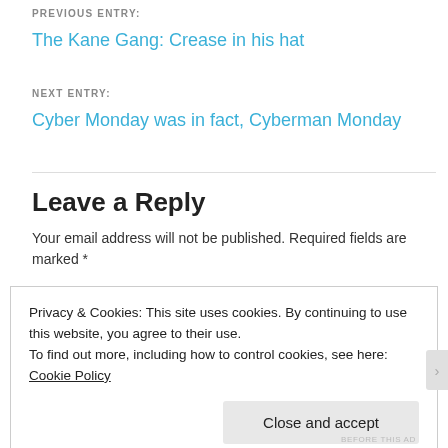PREVIOUS ENTRY:
The Kane Gang: Crease in his hat
NEXT ENTRY:
Cyber Monday was in fact, Cyberman Monday
Leave a Reply
Your email address will not be published. Required fields are marked *
Privacy & Cookies: This site uses cookies. By continuing to use this website, you agree to their use.
To find out more, including how to control cookies, see here: Cookie Policy
Close and accept
BEFORE THIS AD